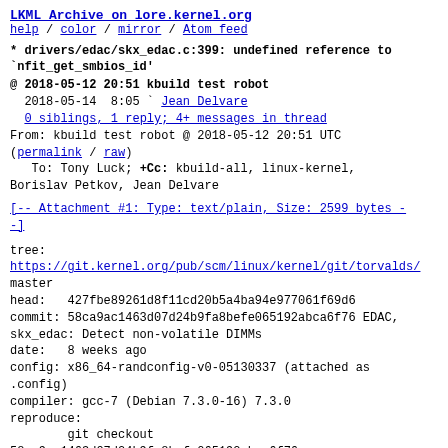LKML Archive on lore.kernel.org
help / color / mirror / Atom feed
* drivers/edac/skx_edac.c:399: undefined reference to `nfit_get_smbios_id'
@ 2018-05-12 20:51 kbuild test robot
  2018-05-14  8:05 ` Jean Delvare
  0 siblings, 1 reply; 4+ messages in thread
From: kbuild test robot @ 2018-05-12 20:51 UTC
(permalink / raw)
   To: Tony Luck; +Cc: kbuild-all, linux-kernel,
Borislav Petkov, Jean Delvare
[-- Attachment #1: Type: text/plain, Size: 2599 bytes --]
tree:
https://git.kernel.org/pub/scm/linux/kernel/git/torvalds/master
head:   427fbe89261d8f11cd20b5a4ba94e977061f69d6
commit: 58ca9ac1463d07d24b9fa8befe065192abca6f76 EDAC,
skx_edac: Detect non-volatile DIMMs
date:   8 weeks ago
config: x86_64-randconfig-v0-05130337 (attached as
.config)
compiler: gcc-7 (Debian 7.3.0-16) 7.3.0
reproduce:
        git checkout
58ca9ac1463d07d24b9fa8befe065192abca6f76
        # save the attached .config to linux build tree